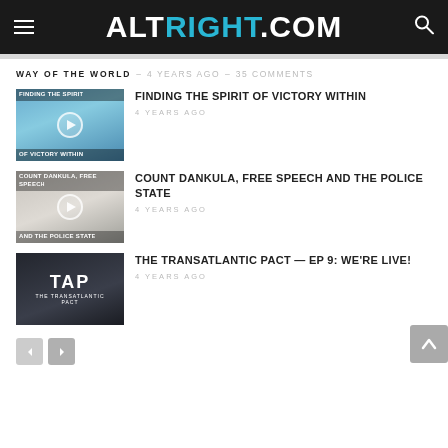ALT RIGHT .COM
WAY OF THE WORLD  –  4 YEARS AGO  –  35 COMMENTS
FINDING THE SPIRIT OF VICTORY WITHIN
4 YEARS AGO
COUNT DANKULA, FREE SPEECH AND THE POLICE STATE
4 YEARS AGO
THE TRANSATLANTIC PACT — EP 9: WE'RE LIVE!
4 YEARS AGO